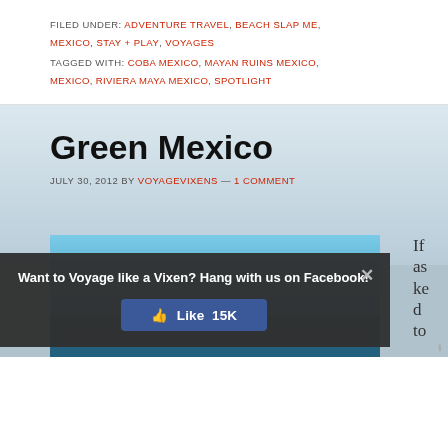FILED UNDER: ADVENTURE TRAVEL, BEACH SLAP ME, MEXICO, STAY + PLAY, VOYAGES
TAGGED WITH: COBA MEXICO, MAYAN RUINS MEXICO, MEXICO, RIVIERA MAYA MEXICO, SPOTLIGHT
Green Mexico
JULY 30, 2012 BY VOYAGEVIXENS — 1 COMMENT
[Figure (photo): Blue-toned photo of a building/resort, partially visible below a popup overlay]
Want to Voyage like a Vixen? Hang with us on Facebook!
Like 15K